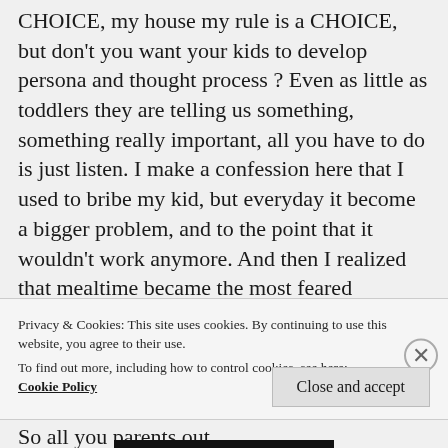CHOICE, my house my rule is a CHOICE, but don't you want your kids to develop persona and thought process ? Even as little as toddlers they are telling us something, something really important, all you have to do is just listen. I make a confession here that I used to bribe my kid, but everyday it become a bigger problem, and to the point that it wouldn't work anymore. And then I realized that mealtime became the most feared occasion, and that is the day I decided I will not do this to my child ! My 3 yr old can tell you 45 US Capitals, but he does not want to eat dal, and rice. That is a fact I can live with. So all you parents out
Privacy & Cookies: This site uses cookies. By continuing to use this website, you agree to their use.
To find out more, including how to control cookies, see here:
Cookie Policy
Close and accept